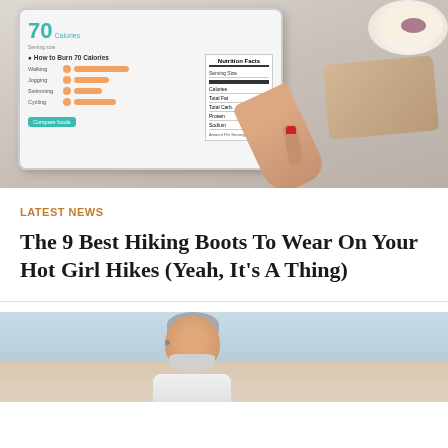[Figure (photo): Person holding a tablet showing a calorie/nutrition tracking app, with a plate of food visible in the background on a table]
LATEST NEWS
The 9 Best Hiking Boots To Wear On Your Hot Girl Hikes (Yeah, It's A Thing)
[Figure (photo): Older man with grey beard and hair smiling outdoors near a beach or open sky, wearing a white shirt or medical coat]